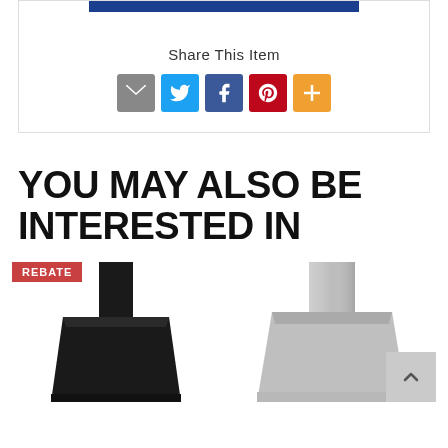[Figure (screenshot): Blue button/bar at top of share card section]
Share This Item
[Figure (infographic): Row of social sharing icons: email (grey), Twitter (blue), Facebook (blue), Pinterest (red), More/plus (orange)]
YOU MAY ALSO BE INTERESTED IN
[Figure (photo): Product card with REBATE badge; black range hood chimney appliance partially visible]
[Figure (photo): Product card; stainless steel range hood appliance partially visible; scroll-to-top button overlay in bottom right]